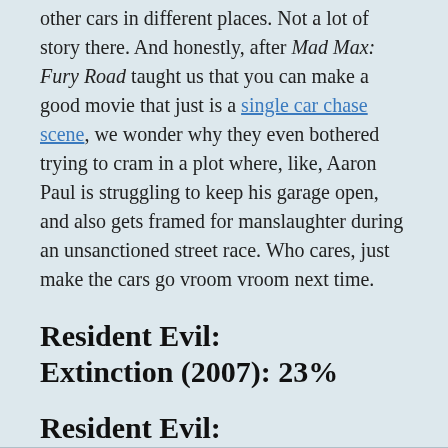other cars in different places. Not a lot of story there. And honestly, after Mod Max: Fury Road taught us that you can make a good movie that just is a single car chase scene, we wonder why they even bothered trying to cram in a plot where, like, Aaron Paul is struggling to keep his garage open, and also gets framed for manslaughter during an unsanctioned street race. Who cares, just make the cars go vroom vroom next time.
Resident Evil: Extinction (2007): 23%
Resident Evil: Afterlife (2010): 23%